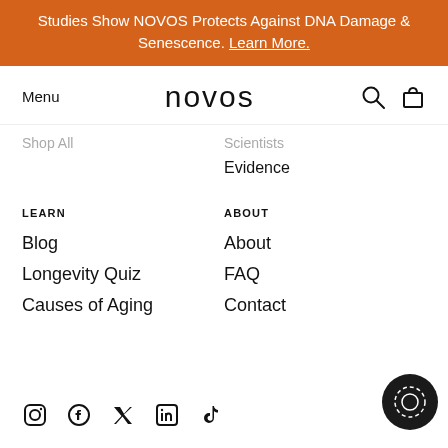Studies Show NOVOS Protects Against DNA Damage & Senescence. Learn More.
Menu
novos
Shop All
Scientists
Evidence
LEARN
ABOUT
Blog
About
Longevity Quiz
FAQ
Causes of Aging
Contact